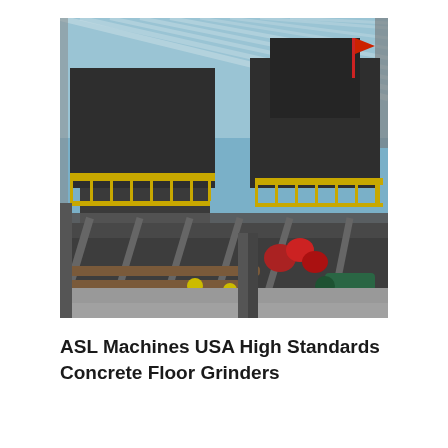[Figure (photo): Industrial machinery inside a large warehouse or factory with a translucent roof. Heavy dark-colored equipment with yellow safety railings is visible at upper levels, with conveyor systems, pipes, motors, and mechanical components in the foreground.]
ASL Machines USA High Standards Concrete Floor Grinders